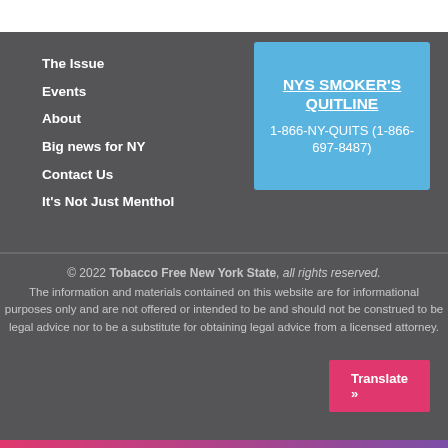The Issue
Events
About
Big news for NY
Contact Us
It's Not Just Menthol
NYS SMOKER'S QUITLINE
1-866-NY-QUITS (1-866-697-8487)
© 2022 Tobacco Free New York State, all rights reserved. The information and materials contained on this website are for informational purposes only and are not offered or intended to be and should not be construed to be legal advice nor to be a substitute for obtaining legal advice from a licensed attorney.
Translate »